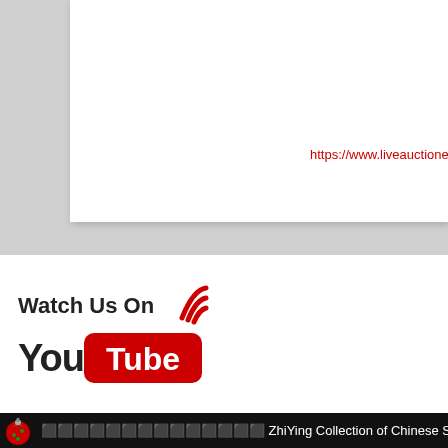https://www.liveauctioneers
[Figure (logo): Watch Us On YouTube logo with WiFi/broadcast signal icon in red beside the YouTube logo]
[Figure (screenshot): Video thumbnail showing ZhiYing Collection of Chinese Sn... with a green Christmas ornament icon on a black background]